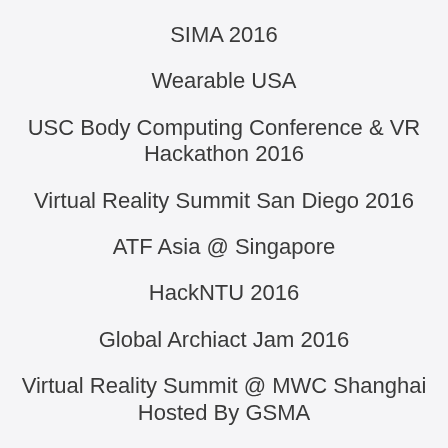SIMA 2016
Wearable USA
USC Body Computing Conference & VR Hackathon 2016
Virtual Reality Summit San Diego 2016
ATF Asia @ Singapore
HackNTU 2016
Global Archiact Jam 2016
Virtual Reality Summit @ MWC Shanghai Hosted By GSMA